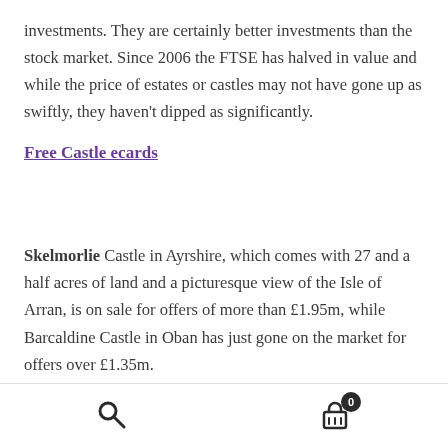investments. They are certainly better investments than the stock market. Since 2006 the FTSE has halved in value and while the price of estates or castles may not have gone up as swiftly, they haven't dipped as significantly.
Free Castle ecards
Skelmorlie Castle in Ayrshire, which comes with 27 and a half acres of land and a picturesque view of the Isle of Arran, is on sale for offers of more than £1.95m, while Barcaldine Castle in Oban has just gone on the market for offers over £1.35m. Geoffrey Nicholsby bought Duntarvie Castle in West lothian nearly 10 years ago. He initially wanted to
Search | Cart (0)